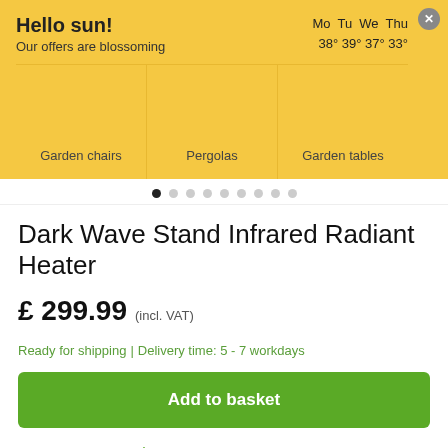Hello sun!
Our offers are blossoming
Mo Tu We Thu
38° 39° 37° 33°
Garden chairs
Pergolas
Garden tables
Dark Wave Stand Infrared Radiant Heater
£ 299.99 (incl. VAT)
Ready for shipping | Delivery time: 5 - 7 workdays
Add to basket
60 day cooling off period